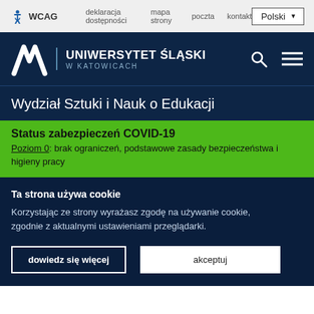WCAG  deklaracja dostępności  mapa strony  poczta  kontakt  Polski
[Figure (logo): Uniwersytet Śląski w Katowicach logo with stylized W/U mark and university name]
Wydział Sztuki i Nauk o Edukacji
Status zabezpieczeń COVID-19
Poziom 0: brak ograniczeń, podstawowe zasady bezpieczeństwa i higieny pracy
Ta strona używa cookie
Korzystając ze strony wyrażasz zgodę na używanie cookie, zgodnie z aktualnymi ustawieniami przeglądarki.
dowiedz się więcej   akceptuj